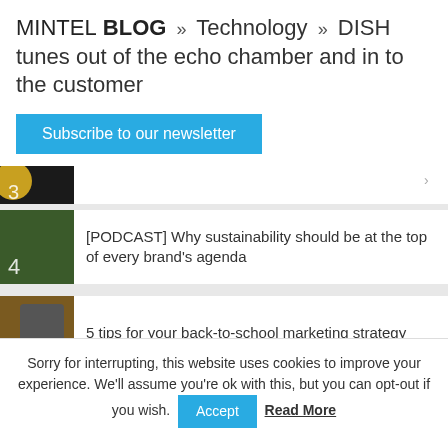MINTEL BLOG » Technology » DISH tunes out of the echo chamber and in to the customer
Subscribe to our newsletter
[PODCAST] Why sustainability should be at the top of every brand's agenda
5 tips for your back-to-school marketing strategy
MOST POPULAR RESOURCES
Sorry for interrupting, this website uses cookies to improve your experience. We'll assume you're ok with this, but you can opt-out if you wish.
Accept
Read More